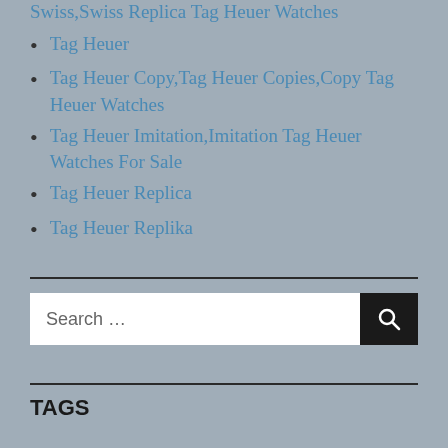Swiss,Swiss Replica Tag Heuer Watches
Tag Heuer
Tag Heuer Copy,Tag Heuer Copies,Copy Tag Heuer Watches
Tag Heuer Imitation,Imitation Tag Heuer Watches For Sale
Tag Heuer Replica
Tag Heuer Replika
Search ...
TAGS